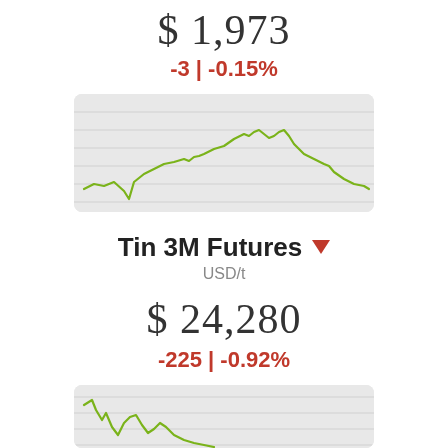$1,973
-3 | -0.15%
[Figure (line-chart): Line chart showing upward trend then slight decline, green line on grey background]
Tin 3M Futures ▼
USD/t
$ 24,280
-225 | -0.92%
[Figure (line-chart): Line chart showing downward trend, green line on grey background, partially visible]